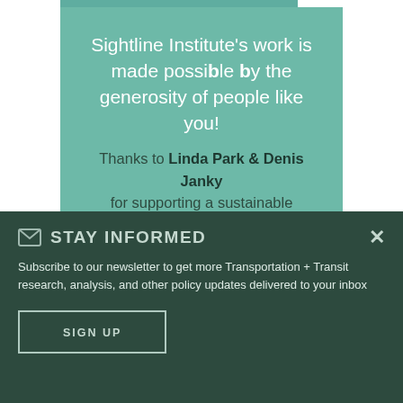Sightline Institute's work is made possible by the generosity of people like you! Thanks to Linda Park & Denis Janky for supporting a sustainable Northwest.
STAY INFORMED
Subscribe to our newsletter to get more Transportation + Transit research, analysis, and other policy updates delivered to your inbox
SIGN UP